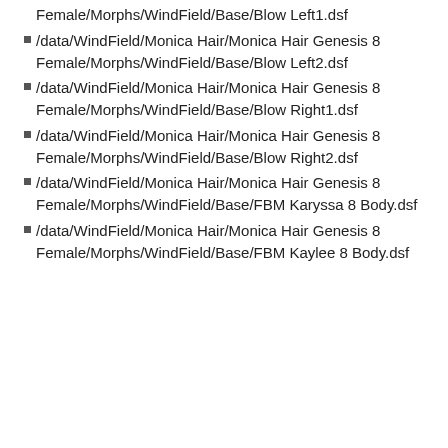Female/Morphs/WindField/Base/Blow Left1.dsf
/data/WindField/Monica Hair/Monica Hair Genesis 8 Female/Morphs/WindField/Base/Blow Left2.dsf
/data/WindField/Monica Hair/Monica Hair Genesis 8 Female/Morphs/WindField/Base/Blow Right1.dsf
/data/WindField/Monica Hair/Monica Hair Genesis 8 Female/Morphs/WindField/Base/Blow Right2.dsf
/data/WindField/Monica Hair/Monica Hair Genesis 8 Female/Morphs/WindField/Base/FBM Karyssa 8 Body.dsf
/data/WindField/Monica Hair/Monica Hair Genesis 8 Female/Morphs/WindField/Base/FBM Kaylee 8 Body.dsf